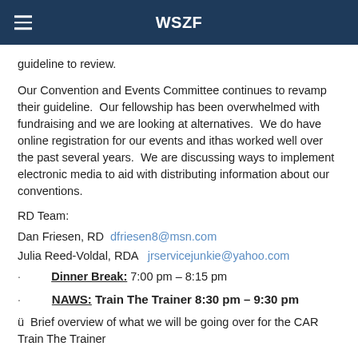WSZF
guideline to review.
Our Convention and Events Committee continues to revamp their guideline.  Our fellowship has been overwhelmed with fundraising and we are looking at alternatives.  We do have online registration for our events and ithas worked well over the past several years.  We are discussing ways to implement electronic media to aid with distributing information about our conventions.
RD Team:
Dan Friesen, RD  dfriesen8@msn.com
Julia Reed-Voldal, RDA   jrservicejunkie@yahoo.com
Dinner Break: 7:00 pm – 8:15 pm
NAWS: Train The Trainer 8:30 pm – 9:30 pm
ü  Brief overview of what we will be going over for the CAR Train The Trainer